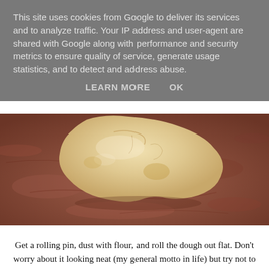This site uses cookies from Google to deliver its services and to analyze traffic. Your IP address and user-agent are shared with Google along with performance and security metrics to ensure quality of service, generate usage statistics, and to detect and address abuse.
LEARN MORE    OK
[Figure (photo): A ball of unrolled pastry or cookie dough resting on a brown/reddish surface (possibly a silicone mat or countertop). The dough is pale yellow and irregular in shape with cracks visible on top.]
Get a rolling pin, dust with flour, and roll the dough out flat. Don't worry about it looking neat (my general motto in life) but try not to roll it too thin as your edges might crumble a bit (as mine did). Get a plate approximately 23cm wide and place it on top of the dough. Use this as a template and trim round the edge with a knife, so you end up with a neat